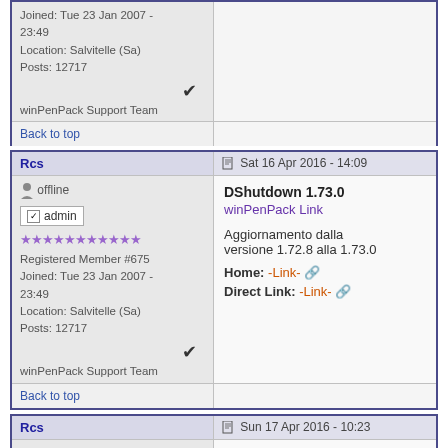| User | Post |
| --- | --- |
| Joined: Tue 23 Jan 2007 - 23:49
Location: Salvitelle (Sa)
Posts: 12717
✓ winPenPack Support Team |  |
| Back to top |  |
| Rcs | Sat 16 Apr 2016 - 14:09 |
| offline
admin
★★★★★★★★★★★
Registered Member #675
Joined: Tue 23 Jan 2007 - 23:49
Location: Salvitelle (Sa)
Posts: 12717
✓ winPenPack Support Team | DShutdown 1.73.0
winPenPack Link

Aggiornamento dalla versione 1.72.8 alla 1.73.0

Home: -Link-
Direct Link: -Link- |
| Back to top |  |
| Rcs | Sun 17 Apr 2016 - 10:23 |
|  | DShutdown 1.73.1 |